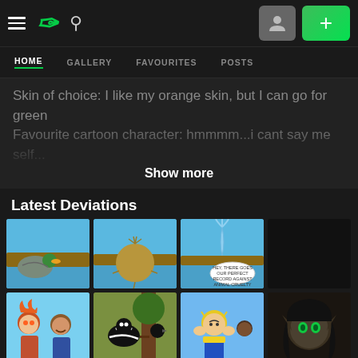DeviantArt navigation bar with hamburger menu, DA logo, search icon, profile button, and add (+) button
HOME | GALLERY | FAVOURITES | POSTS
Skin of choice: I like my orange skin, but I can go for green
Favourite cartoon character: hmmmm...i cant say me self... Show more
Latest Deviations
[Figure (illustration): Comic strip thumbnails showing cartoon scenes with ducks, animals near water, and character illustrations on dark background]